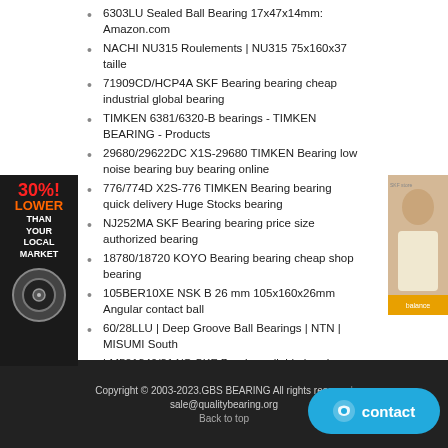6303LU Sealed Ball Bearing 17x47x14mm: Amazon.com
NACHI NU315 Roulements | NU315 75x160x37 taille
71909CD/HCP4A SKF Bearing bearing cheap industrial global bearing
TIMKEN 6381/6320-B bearings - TIMKEN BEARING - Products
29680/29622DC X1S-29680 TIMKEN Bearing low noise bearing buy bearing online
776/774D X2S-776 TIMKEN Bearing bearing quick delivery Huge Stocks bearing
NJ252MA SKF Bearing bearing price size authorized bearing
18780/18720 KOYO Bearing bearing cheap shop bearing
105BER10XE NSK B 26 mm 105x160x26mm Angular contact ball
60/28LLU | Deep Groove Ball Bearings | NTN | MISUMI South
LM501349/314/Q SKF Bearing reliable bearing bearing quick delivery
9109PP - Timken Bearing - Timken Excellent Quality - GDO
INA K81112-TV bearings | 60x85x7.5mm - Nodes
T-93750/93127D A NTN Bearing bearing shop online bearing cooperation
[Figure (illustration): Side banner with '30% LOWER THAN YOUR LOCAL MARKET' text and bearing image]
[Figure (photo): Advertisement photo of a person with a button]
Copyright © 2003-2023.GBS BEARING All rights reserved sale@qualitybearing.org Back to top